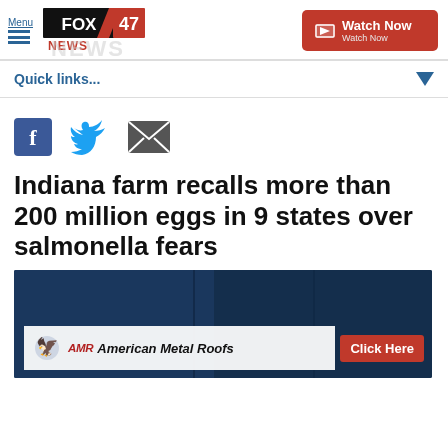FOX47 NEWS | Menu | Watch Now
Quick links...
[Figure (illustration): Social media share icons: Facebook (blue f), Twitter (blue bird), Email (dark envelope)]
Indiana farm recalls more than 200 million eggs in 9 states over salmonella fears
[Figure (screenshot): Video thumbnail with dark blue background and advertisement overlay for American Metal Roofs with Click Here button]